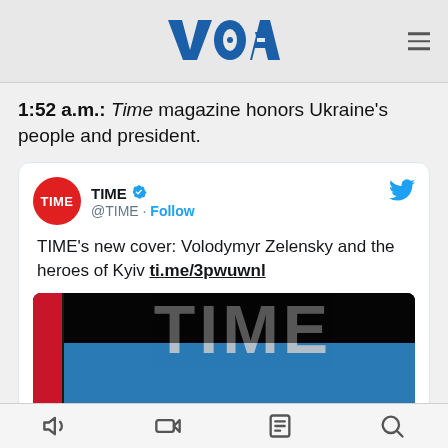VOA
1:52 a.m.: Time magazine honors Ukraine's people and president.
[Figure (screenshot): Embedded tweet from @TIME showing: 'TIME's new cover: Volodymyr Zelensky and the heroes of Kyiv ti.me/3pwuwnl' with an image of the TIME magazine cover featuring the word TIME in large letters over a dark blue/black background with partial text 'Kyiv' visible at bottom.]
Navigation bar with audio, video, reading, and search icons